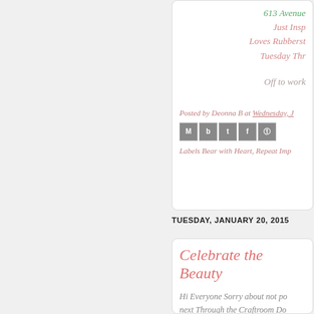613 Avenue
Just Insp
Loves Rubberst
Tuesday Thr
Off to work
Posted by Deonna B at Wednesday, J
[Figure (screenshot): Social share icons: email (M), blogger (b), twitter (t), facebook (f), pinterest (p)]
Labels Bear with Heart, Repeat Imp
TUESDAY, JANUARY 20, 2015
Celebrate the Beauty
Hi Everyone Sorry about not po... next Through the Craftroom Do... needed to get it complete I also n... Mo